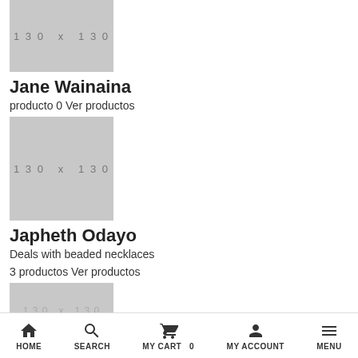[Figure (other): Placeholder image 130x130 (partially visible at top)]
Jane Wainaina
producto 0 Ver productos
[Figure (other): Placeholder image 130x130]
Japheth Odayo
Deals with beaded necklaces
3 productos Ver productos
[Figure (other): Placeholder image 130x130 (partially visible at bottom)]
HOME   SEARCH   MY CART 0   MY ACCOUNT   MENU